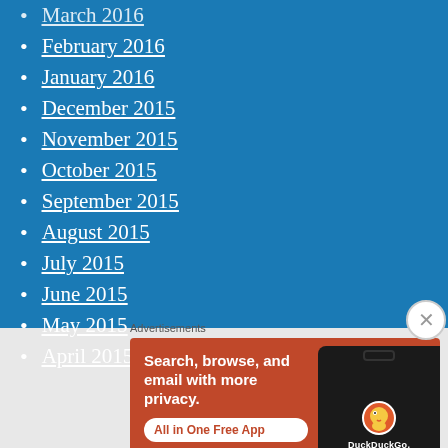March 2016
February 2016
January 2016
December 2015
November 2015
October 2015
September 2015
August 2015
July 2015
June 2015
May 2015
April 2015
Advertisements
[Figure (screenshot): DuckDuckGo advertisement banner: orange background with text 'Search, browse, and email with more privacy. All in One Free App' and a phone mockup showing DuckDuckGo logo]